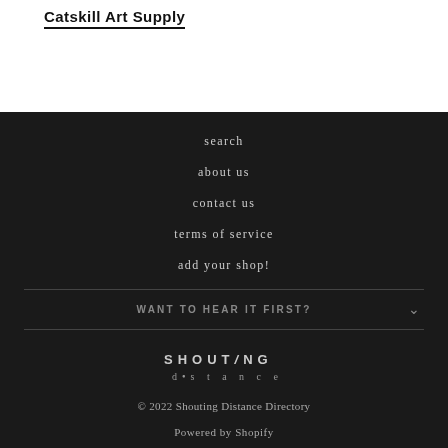Catskill Art Supply
search
about us
contact us
terms of service
add your shop!
WANT TO HEAR IT FIRST?
[Figure (logo): Shouting Distance logo — 'SHOUT/NG d•s t a n c e']
© 2022 Shouting Distance Directory
Powered by Shopify